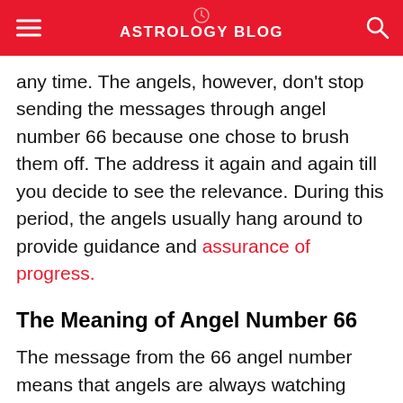ASTROLOGY BLOG
any time. The angels, however, don't stop sending the messages through angel number 66 because one chose to brush them off. The address it again and again till you decide to see the relevance. During this period, the angels usually hang around to provide guidance and assurance of progress.
The Meaning of Angel Number 66
The message from the 66 angel number means that angels are always watching your back. Also, the angel number 66 is one of the numerological numbers that